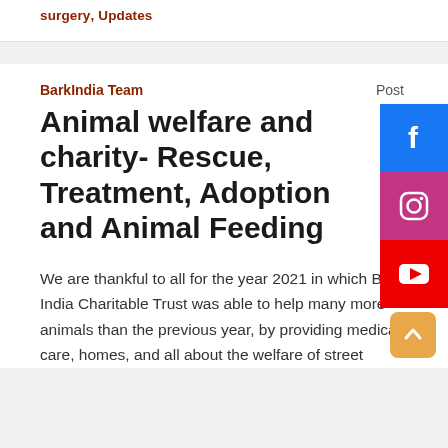surgery, Updates
BarkIndia Team
Post
Animal welfare and charity- Rescue, Treatment, Adoption and Animal Feeding
[Figure (infographic): Facebook, Instagram, and YouTube social media share buttons stacked vertically on the right side]
We are thankful to all for the year 2021 in which Bark India Charitable Trust was able to help many more animals than the previous year, by providing medical care, homes, and all about the welfare of street